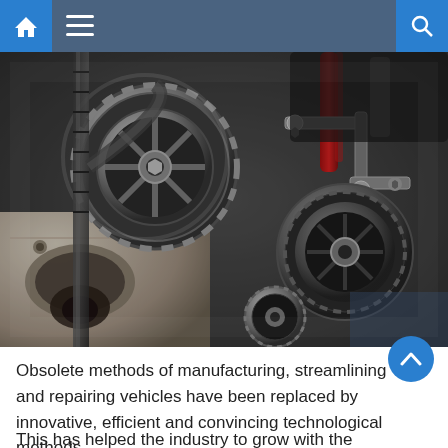Navigation bar with home, menu, and search icons
[Figure (photo): Close-up photograph of a car engine showing timing belt, pulleys, alternator, and various mechanical components in black and silver tones]
Obsolete methods of manufacturing, streamlining and repairing vehicles have been replaced by innovative, efficient and convincing technological methods.
This has helped the industry to grow with the opening of